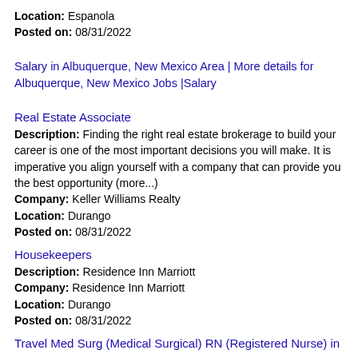Location: Espanola
Posted on: 08/31/2022
Salary in Albuquerque, New Mexico Area | More details for Albuquerque, New Mexico Jobs |Salary
Real Estate Associate
Description: Finding the right real estate brokerage to build your career is one of the most important decisions you will make. It is imperative you align yourself with a company that can provide you the best opportunity (more...)
Company: Keller Williams Realty
Location: Durango
Posted on: 08/31/2022
Housekeepers
Description: Residence Inn Marriott
Company: Residence Inn Marriott
Location: Durango
Posted on: 08/31/2022
Travel Med Surg (Medical Surgical) RN (Registered Nurse) in